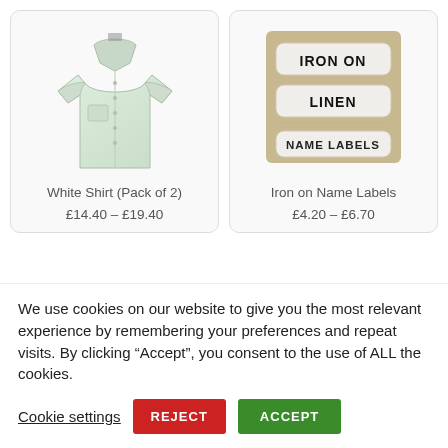[Figure (photo): White short-sleeve men's shirt product photo on light background]
White Shirt (Pack of 2)
£14.40 – £19.40
[Figure (photo): Iron on linen name labels product photo showing three white labels on tan backing]
Iron on Name Labels
£4.20 – £6.70
We use cookies on our website to give you the most relevant experience by remembering your preferences and repeat visits. By clicking “Accept”, you consent to the use of ALL the cookies.
Cookie settings
REJECT
ACCEPT